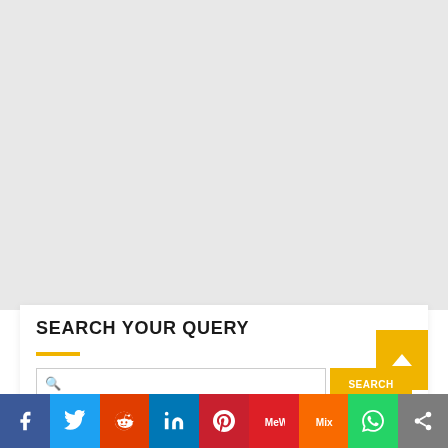[Figure (screenshot): Gray background area occupying the upper portion of the page, representing a webpage content area]
SEARCH YOUR QUERY
[Figure (other): Search input box with yellow SEARCH button]
[Figure (other): Social sharing bar at the bottom with icons for Facebook, Twitter, Reddit, LinkedIn, Pinterest, MeWe, Mix, WhatsApp, and a share button]